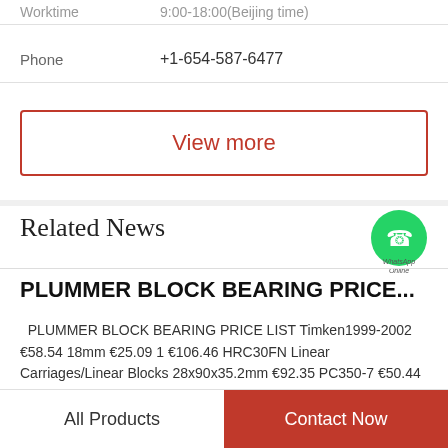Worktime    9:00-18:00(Beijing time)
Phone    +1-654-587-6477
View more
Related News
[Figure (logo): WhatsApp green phone icon with 'WhatsApp Online' text]
PLUMMER BLOCK BEARING PRICE...
PLUMMER BLOCK BEARING PRICE LIST Timken1999-2002 €58.54 18mm €25.09 1 €106.46 HRC30FN Linear Carriages/Linear Blocks 28x90x35.2mm €92.35 PC350-7 €50.44 221091) €155.13 Ec210 €138.10...
All Products
Contact Now